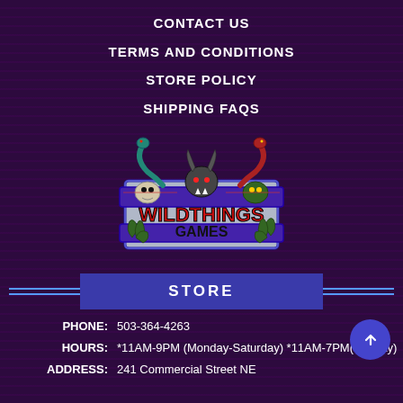CONTACT US
TERMS AND CONDITIONS
STORE POLICY
SHIPPING FAQS
[Figure (logo): Wild Things Games logo featuring cartoon monsters and creatures surrounding the text 'WILDTHINGS GAMES' on a stone-textured sign with purple borders]
STORE
PHONE: 503-364-4263
HOURS: *11AM-9PM (Monday-Saturday) *11AM-7PM(Sunday)
ADDRESS: 241 Commercial Street NE